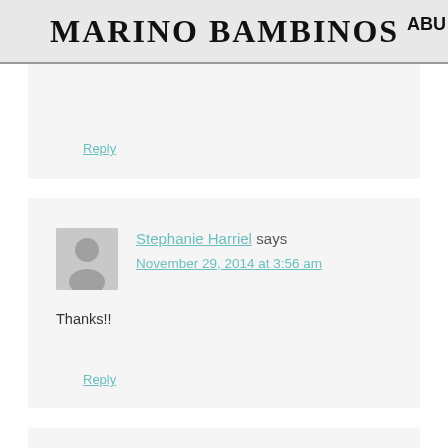MARINO BAMBINOS
Reply
Stephanie Harriel says
November 29, 2014 at 3:56 am
Thanks!!
Reply
Dana Matthews says
November 29, 2014 at 5:20 am